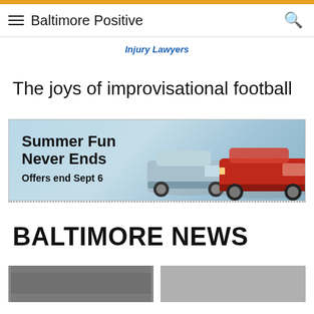Baltimore Positive
Injury Lawyers
The joys of improvisational football
[Figure (photo): Car advertisement banner: Summer Fun Never Ends, Offers end Sept 6, showing two cars (silver and red Toyota Camry) against a waterfront background]
BALTIMORE NEWS
[Figure (photo): Two partially visible news thumbnail images at bottom of page]